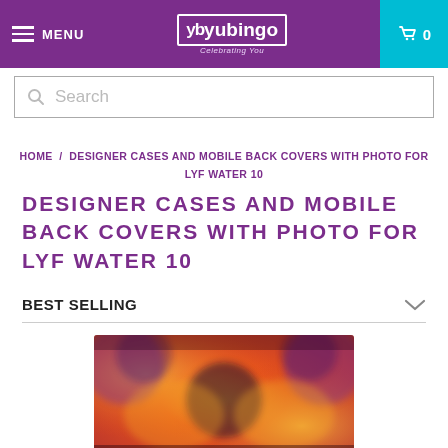MENU | yb yubingo | 0
Search
HOME / DESIGNER CASES AND MOBILE BACK COVERS WITH PHOTO FOR LYF WATER 10
DESIGNER CASES AND MOBILE BACK COVERS WITH PHOTO FOR LYF WATER 10
BEST SELLING
[Figure (photo): Blurred colorful phone case product image with warm orange/red tones and decorative pattern]